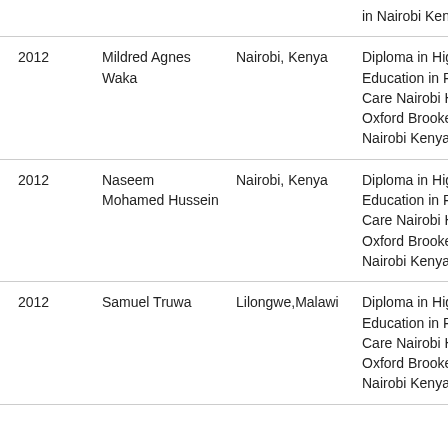| Year | Name | Location | Qualification |
| --- | --- | --- | --- |
|  |  |  | in Nairobi Kenya |
| 2012 | Mildred Agnes Waka | Nairobi, Kenya | Diploma in Higher Education in Palliative Care Nairobi Hospice Oxford Brookes in Nairobi Kenya |
| 2012 | Naseem Mohamed Hussein | Nairobi, Kenya | Diploma in Higher Education in Palliative Care Nairobi Hospice Oxford Brookes in Nairobi Kenya |
| 2012 | Samuel Truwa | Lilongwe,Malawi | Diploma in Higher Education in Palliative Care Nairobi Hospice Oxford Brookes in Nairobi Kenya |